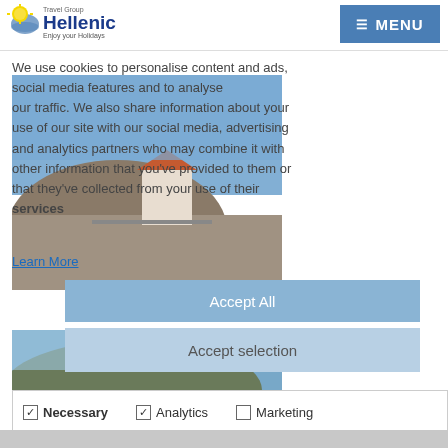Hellenic Travel Group – Enjoy your Holidays | MENU
Cookie consent & Privacy Policy
We use cookies to personalise content and ads, social media features and to analyse our traffic. We also share information about your use of our site with our social media, advertising and analytics partners who may combine it with other information that you've provided to them or that they've collected from your use of their services
Learn More
[Figure (photo): Photo of a white building on rocky cliff by the sea]
Accept All
[Figure (photo): Photo of a coastal hillside with sea]
Accept selection
Necessary
Analytics
Marketing